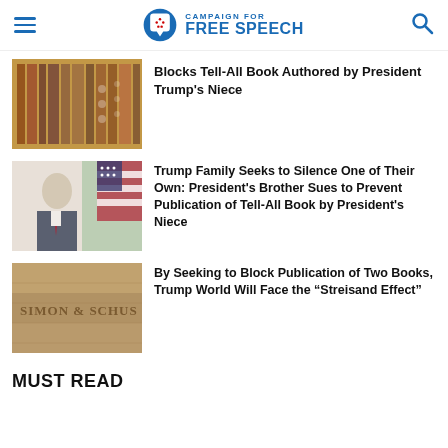[Figure (logo): Campaign for Free Speech logo with shield icon]
Blocks Tell-All Book Authored by President Trump's Niece
[Figure (photo): Photo of President Trump in suit standing in front of American flag]
Trump Family Seeks to Silence One of Their Own: President's Brother Sues to Prevent Publication of Tell-All Book by President's Niece
[Figure (photo): Simon & Schuster building or sign photo]
By Seeking to Block Publication of Two Books, Trump World Will Face the “Streisand Effect”
MUST READ